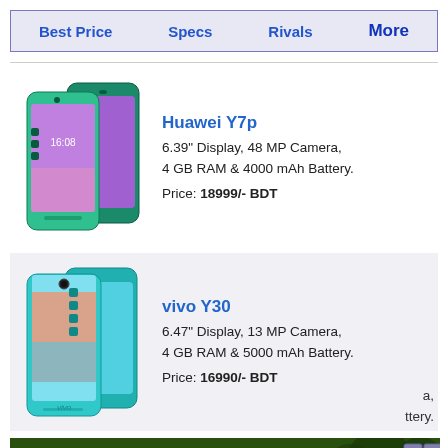Best Price   Specs   Rivals   More
[Figure (photo): Huawei Y7p smartphone product image showing two phones, gradient blue-green color]
Huawei Y7p
6.39" Display, 48 MP Camera,
4 GB RAM & 4000 mAh Battery.
Price: 18999/- BDT
[Figure (photo): vivo Y30 smartphone product image showing two phones, teal/gradient color]
vivo Y30
6.47" Display, 13 MP Camera,
4 GB RAM & 5000 mAh Battery.
Price: 16990/- BDT
[Figure (photo): Wolf Game advertisement banner - THE HUNT IS ON! with wolves in forest setting]
a,
ttery.